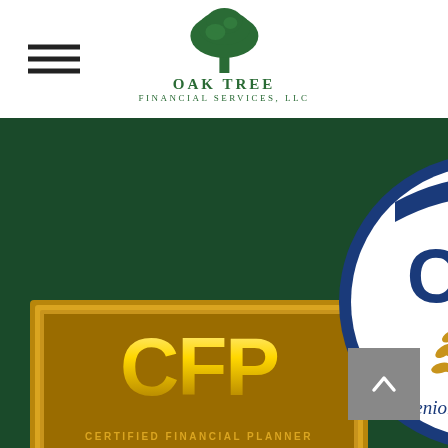Oak Tree Financial Services, LLC
[Figure (logo): CFP Certified Financial Planner gold badge]
[Figure (logo): CSA Certified Senior Advisor badge with blue shield and wheat motif]
[Figure (logo): CRPC Chartered Retirement Planning Counselor badge with mountain logo]